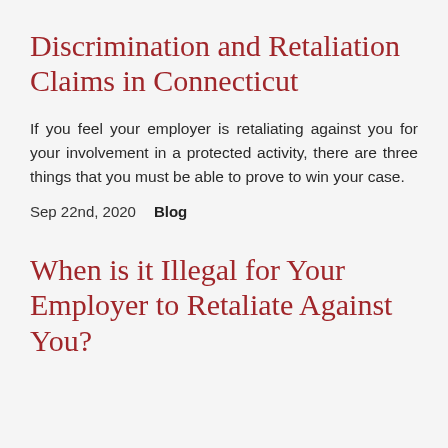Discrimination and Retaliation Claims in Connecticut
If you feel your employer is retaliating against you for your involvement in a protected activity, there are three things that you must be able to prove to win your case.
Sep 22nd, 2020    Blog
When is it Illegal for Your Employer to Retaliate Against You?